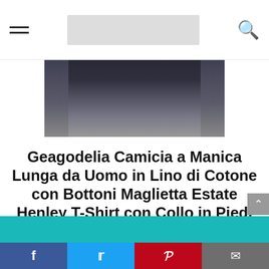[hamburger menu] [logo] [search icon]
[Figure (photo): Partial photo of a man wearing a dark navy long-sleeve shirt and grey pants, cropped at the torso/arms]
Geagodelia Camicia a Manica Lunga da Uomo in Lino di Cotone con Bottoni Maglietta Estate Henley T-Shirt con Collo in Piedi Tinta Unita Magliette Larghe Casual da Spiaggia (Nero, L)
[Figure (screenshot): Teal/blue CTA button bar at bottom (partially visible)]
Facebook | Twitter | Pinterest | Email social share bar